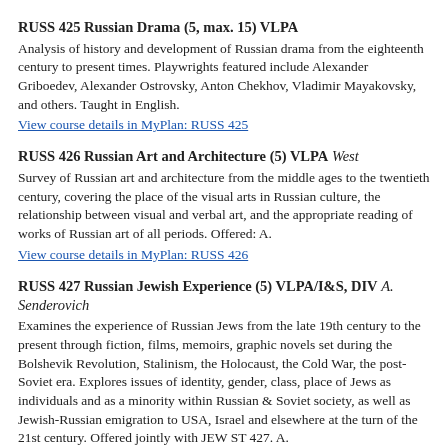RUSS 425 Russian Drama (5, max. 15) VLPA
Analysis of history and development of Russian drama from the eighteenth century to present times. Playwrights featured include Alexander Griboedev, Alexander Ostrovsky, Anton Chekhov, Vladimir Mayakovsky, and others. Taught in English.
View course details in MyPlan: RUSS 425
RUSS 426 Russian Art and Architecture (5) VLPA West
Survey of Russian art and architecture from the middle ages to the twentieth century, covering the place of the visual arts in Russian culture, the relationship between visual and verbal art, and the appropriate reading of works of Russian art of all periods. Offered: A.
View course details in MyPlan: RUSS 426
RUSS 427 Russian Jewish Experience (5) VLPA/I&S, DIV A. Senderovich
Examines the experience of Russian Jews from the late 19th century to the present through fiction, films, memoirs, graphic novels set during the Bolshevik Revolution, Stalinism, the Holocaust, the Cold War, the post-Soviet era. Explores issues of identity, gender, class, place of Jews as individuals and as a minority within Russian & Soviet society, as well as Jewish-Russian emigration to USA, Israel and elsewhere at the turn of the 21st century. Offered jointly with JEW ST 427. A.